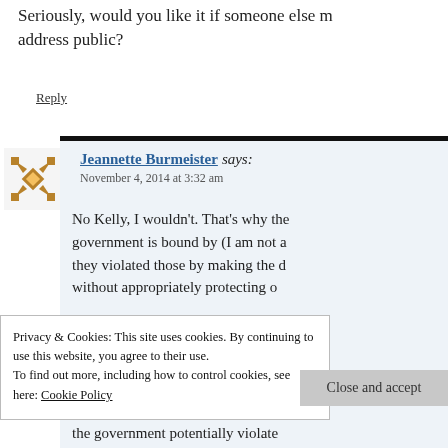Seriously, would you like it if someone else made your address public?
Reply
Jeannette Burmeister says:
November 4, 2014 at 3:32 am
No Kelly, I wouldn't. That's why the government is bound by (I am not a they violated those by making the d without appropriately protecting o
Privacy & Cookies: This site uses cookies. By continuing to use this website, you agree to their use.
To find out more, including how to control cookies, see here: Cookie Policy
Close and accept
the government potentially violate